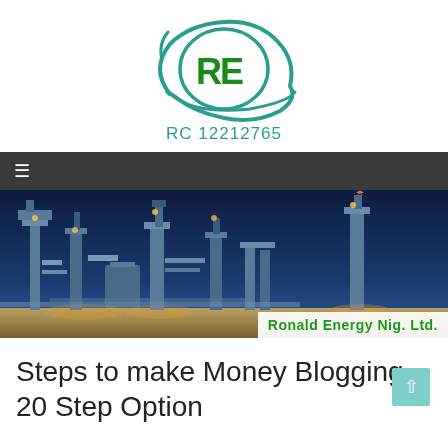[Figure (logo): RE logo — teal oval with RE lettering and swoosh lines]
RC 12212765
[Figure (photo): Industrial oil refinery at night with lit towers and structures]
Ronald Energy Nig. Ltd.
Steps to make Money Blogging – 20 Step Option